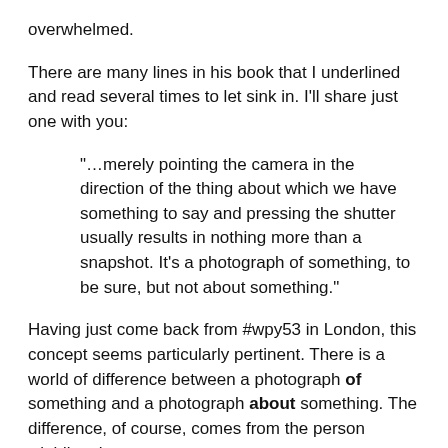overwhelmed.
There are many lines in his book that I underlined and read several times to let sink in. I'll share just one with you:
"…merely pointing the camera in the direction of the thing about which we have something to say and pressing the shutter usually results in nothing more than a snapshot. It's a photograph of something, to be sure, but not about something."
Having just come back from #wpy53 in London, this concept seems particularly pertinent. There is a world of difference between a photograph of something and a photograph about something. The difference, of course, comes from the person wielding the camera.
Get your aperture, shutter and ISO right, and have the best gear for what you're doing. But in the end, it's your vision, your soul that matters, for that translates into the soul of the